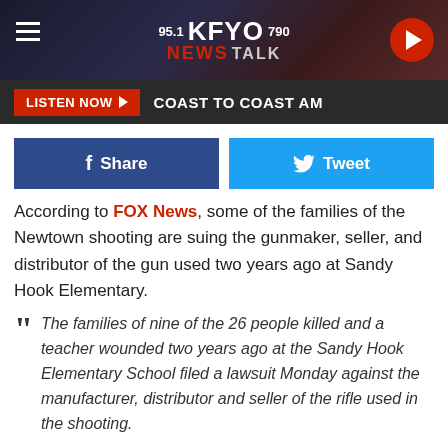[Figure (screenshot): KFYO 95.1 / 790 News Talk radio station header banner with logo, hamburger menu, and play button]
LISTEN NOW ▶  COAST TO COAST AM
[Figure (screenshot): Facebook Share and Twitter Tweet social sharing buttons]
According to FOX News, some of the families of the Newtown shooting are suing the gunmaker, seller, and distributor of the gun used two years ago at Sandy Hook Elementary.
The families of nine of the 26 people killed and a teacher wounded two years ago at the Sandy Hook Elementary School filed a lawsuit Monday against the manufacturer, distributor and seller of the rifle used in the shooting.

The negligence and wrongful death lawsuit, filed in